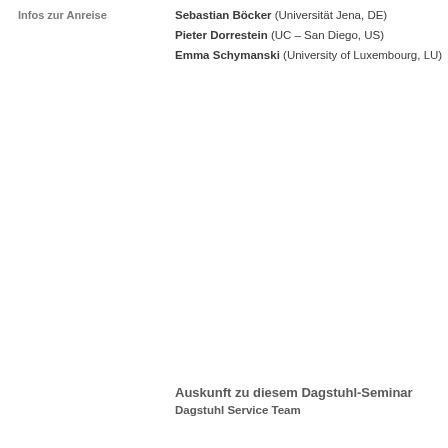Infos zur Anreise
Sebastian Böcker (Universität Jena, DE)
Pieter Dorrestein (UC – San Diego, US)
Emma Schymanski (University of Luxembourg, LU)
Auskunft zu diesem Dagstuhl-Seminar
Dagstuhl Service Team